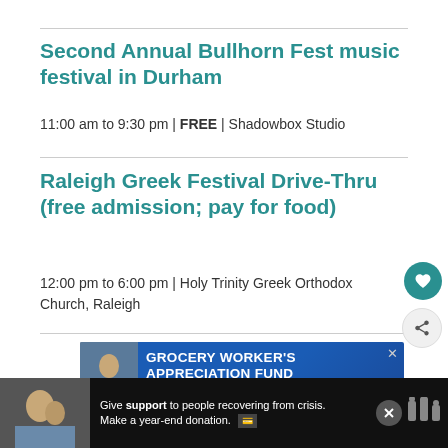Second Annual Bullhorn Fest music festival in Durham
11:00 am to 9:30 pm | FREE | Shadowbox Studio
Raleigh Greek Festival Drive-Thru (free admission; pay for food)
12:00 pm to 6:00 pm | Holy Trinity Greek Orthodox Church, Raleigh
[Figure (photo): Advertisement banner for Grocery Worker's Appreciation Fund featuring Kendall Jackson and United Way logos, with a photo of a grocery worker]
[Figure (photo): Bottom advertisement banner on dark background with text: Give support to people recovering from crisis. Make a year-end donation.]